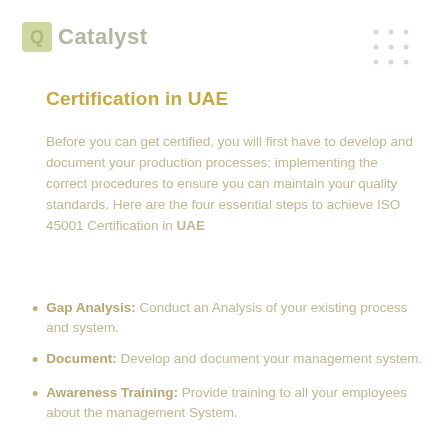Q Catalyst
Certification in UAE
Before you can get certified, you will first have to develop and document your production processes; implementing the correct procedures to ensure you can maintain your quality standards. Here are the four essential steps to achieve ISO 45001 Certification in UAE
Gap Analysis: Conduct an Analysis of your existing process and system.
Document: Develop and document your management system.
Awareness Training: Provide training to all your employees about the management System.